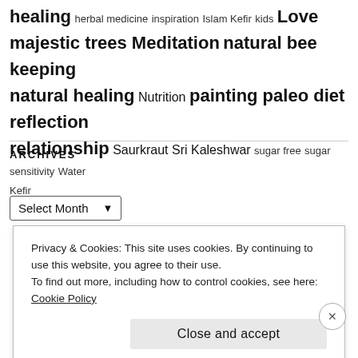healing herbal medicine inspiration Islam Kefir kids Love majestic trees Meditation natural bee keeping natural healing Nutrition painting paleo diet reflection relationship Saurkraut Sri Kaleshwar sugar free sugar sensitivity Water Kefir
ARCHIVES
Select Month
Privacy & Cookies: This site uses cookies. By continuing to use this website, you agree to their use. To find out more, including how to control cookies, see here: Cookie Policy
Close and accept